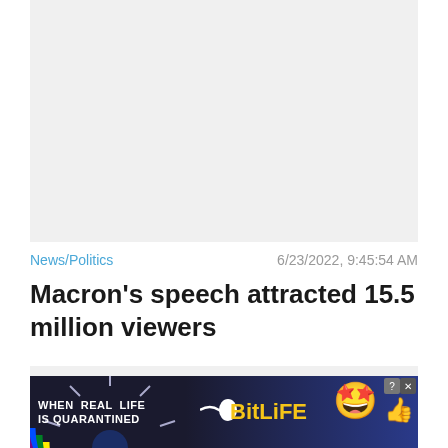[Figure (other): Gray placeholder image area at top of news article]
News/Politics
6/23/2022, 9:45:54 AM
Macron's speech attracted 15.5 million viewers
[Figure (other): Gray placeholder image area below headline]
[Figure (other): BitLife advertisement banner at bottom: WHEN REAL LIFE IS QUARANTINED - BitLife]